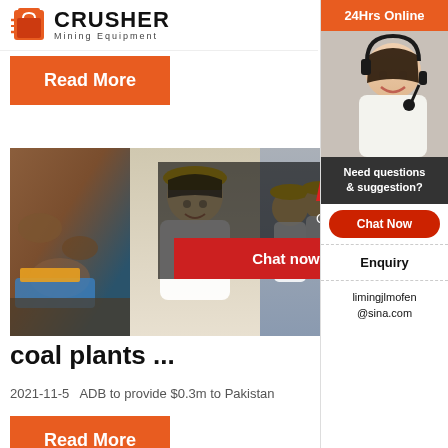[Figure (logo): Crusher Mining Equipment logo with orange shopping bag icon and bold text]
Read More
[Figure (photo): Mining site collage with workers in yellow hard hats and mining equipment]
[Figure (screenshot): Live Chat overlay: 'LIVE CHAT - Click for a Free Consultation' with Chat now and Chat later buttons]
[Figure (photo): 24Hrs Online sidebar with customer service agent photo, Need questions & suggestion chat now button, Enquiry section, and limingjlmofen@sina.com email]
phase
coal plants ...
2021-11-5   ADB to provide $0.3m to Pakistan
Read More